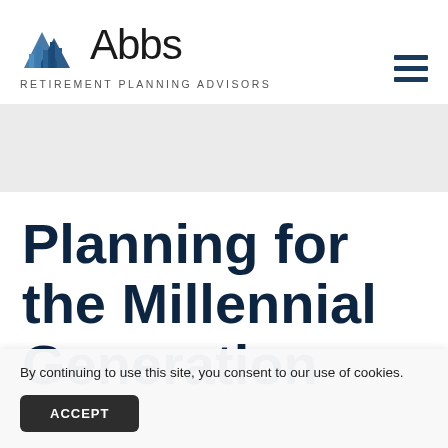[Figure (logo): Abbs Retirement Planning Advisors logo with blue triangular mountain icon and text 'Abbs' with tagline 'RETIREMENT PLANNING ADVISORS']
Planning for the Millennial Generation
By continuing to use this site, you consent to our use of cookies.